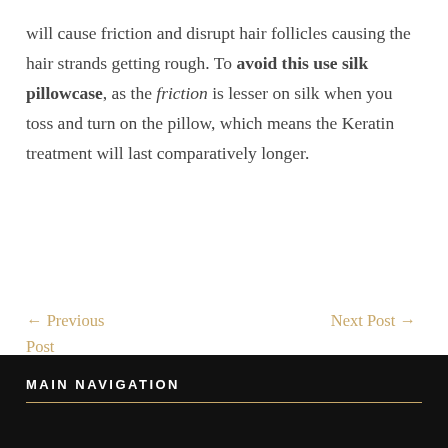will cause friction and disrupt hair follicles causing the hair strands getting rough. To avoid this use silk pillowcase, as the friction is lesser on silk when you toss and turn on the pillow, which means the Keratin treatment will last comparatively longer.
← Previous Post
Next Post →
MAIN NAVIGATION